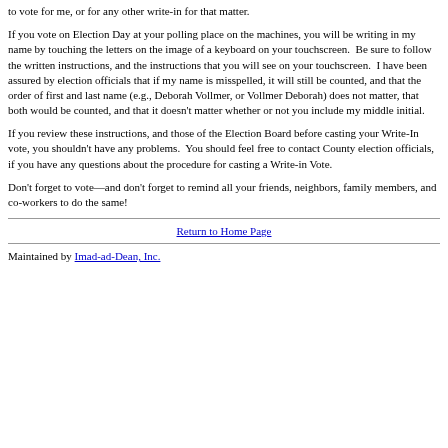to vote for me, or for any other write-in for that matter.
If you vote on Election Day at your polling place on the machines, you will be writing in my name by touching the letters on the image of a keyboard on your touchscreen.  Be sure to follow the written instructions, and the instructions that you will see on your touchscreen.  I have been assured by election officials that if my name is misspelled, it will still be counted, and that the order of first and last name (e.g., Deborah Vollmer, or Vollmer Deborah) does not matter, that both would be counted, and that it doesn't matter whether or not you include my middle initial.
If you review these instructions, and those of the Election Board before casting your Write-In vote, you shouldn't have any problems.  You should feel free to contact County election officials, if you have any questions about the procedure for casting a Write-in Vote.
Don't forget to vote—and don't forget to remind all your friends, neighbors, family members, and co-workers to do the same!
Return to Home Page
Maintained by Imad-ad-Dean, Inc.